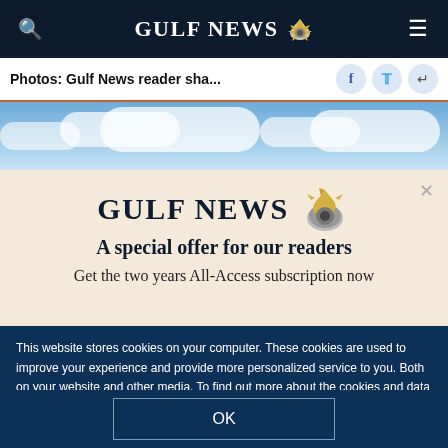GULF NEWS
Photos: Gulf News reader sha...
[Figure (photo): Sky with clouds photo strip]
[Figure (logo): Gulf News subscription modal with eagle logo]
A special offer for our readers
Get the two years All-Access subscription now
This website stores cookies on your computer. These cookies are used to improve your experience and provide more personalized service to you. Both on your website and other media. To find out more about the cookies and data we use, please check out our Privacy Policy.
OK